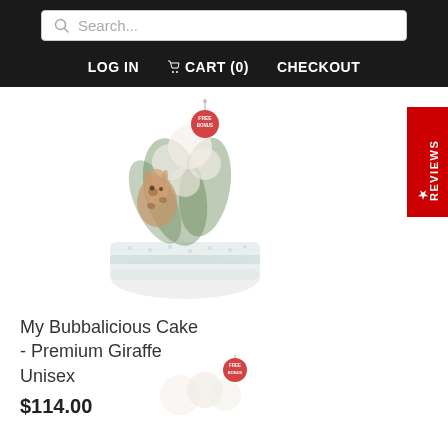Search... | LOG IN | CART (0) | CHECKOUT
[Figure (photo): A nappy cake / diaper cake gift arrangement featuring a giraffe plush toy and white flower decorations in a polka dot round box, with a red 'FREE BONUS' tag hanging from the top.]
My Bubbalicious Cake - Premium Giraffe Unisex
$114.00
[Figure (photo): Partial view of another nappy cake product at the bottom of the page with a similar 'FREE BONUS' tag.]